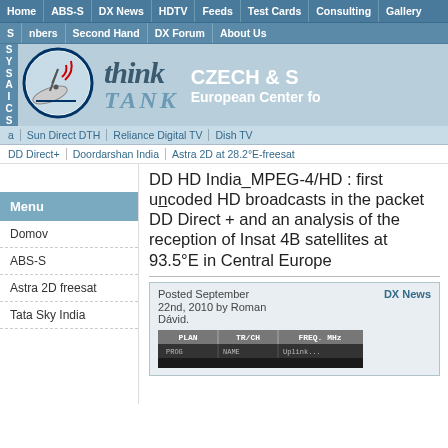Home | ABS-S | DX News | HDTV | Feeds | Test Cards | Consulting | Gallery
S | nbers | Second Hand | DX Forum | About Us
[Figure (logo): Satellite dish logo in a circle with red signal arcs, blue and white design]
think TANK CZECH & S European Center fo
a | Sun Direct DTH | Reliance Digital TV | Dish TV
DD Direct+ | Doordarshan India | Astra 2D at 28.2°E-freesat
DD HD India_MPEG-4/HD : first uncoded HD broadcasts in the packet DD Direct + and an analysis of the reception of Insat 4B satellites at 93.5°E in Central Europe
Menu
Domov
ABS-S
Astra 2D freesat
Tata Sky India
Posted September 22nd, 2010 by Roman Dávid.
DX News
[Figure (screenshot): Screenshot of satellite channel table showing PLAN, TR/CH, FREQ. MHz columns with PROG/NAME row partially visible]